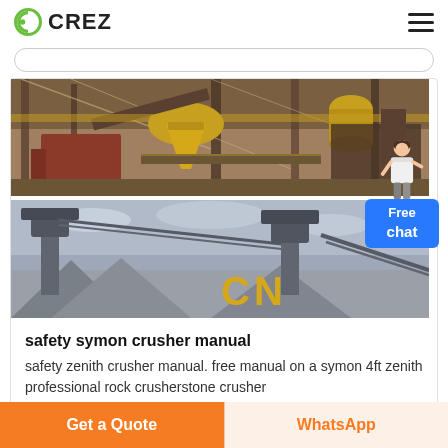CREZ
[Figure (photo): Two industrial mining/crushing machinery photos stacked vertically. Top: yellow cone crusher and conveyor belts in an orange-toned industrial facility. Bottom: grey-toned quarry scene with conveyors and a yellow 'CN' logo.]
safety symon crusher manual
safety zenith crusher manual. free manual on a symon 4ft zenith professional rock crusherstone crusher